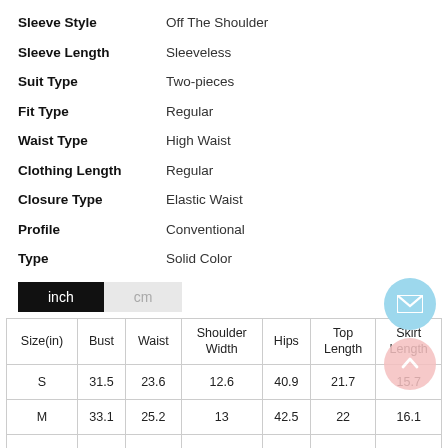Sleeve Style: Off The Shoulder
Sleeve Length: Sleeveless
Suit Type: Two-pieces
Fit Type: Regular
Waist Type: High Waist
Clothing Length: Regular
Closure Type: Elastic Waist
Profile: Conventional
Type: Solid Color
| Size(in) | Bust | Waist | Shoulder Width | Hips | Top Length | Skirt Length |
| --- | --- | --- | --- | --- | --- | --- |
| S | 31.5 | 23.6 | 12.6 | 40.9 | 21.7 | 15.7 |
| M | 33.1 | 25.2 | 13 | 42.5 | 22 | 16.1 |